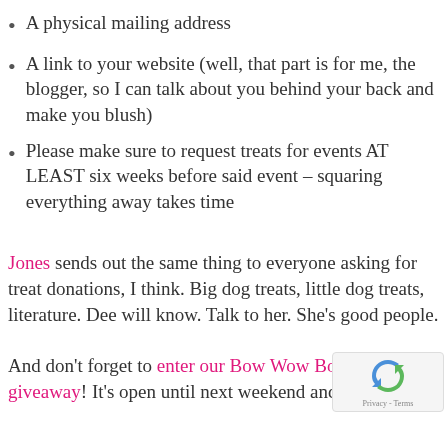A physical mailing address
A link to your website (well, that part is for me, the blogger, so I can talk about you behind your back and make you blush)
Please make sure to request treats for events AT LEAST six weeks before said event – squaring everything away takes time
Jones sends out the same thing to everyone asking for treat donations, I think. Big dog treats, little dog treats, literature. Dee will know. Talk to her. She's good people.
And don't forget to enter our Bow Wow Boo treat giveaway! It's open until next weekend and